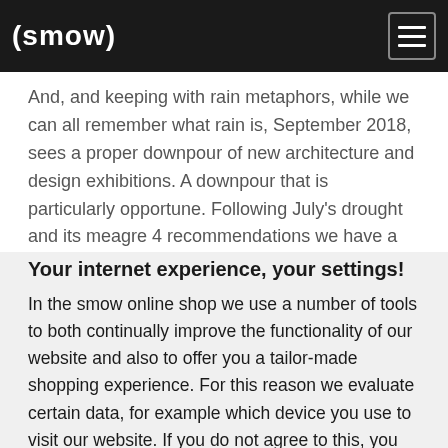(smow)
And, and keeping with rain metaphors, while we can all remember what rain is, September 2018, sees a proper downpour of new architecture and design exhibitions. A downpour that is particularly opportune. Following July's drought and its meagre 4 recommendations we have a
Your internet experience, your settings!
In the smow online shop we use a number of tools to both continually improve the functionality of our website and also to offer you a tailor-made shopping experience. For this reason we evaluate certain data, for example which device you use to visit our website. If you do not agree to this, you have the option of adjusting your settings individually. Please click on
CUSTOMISE
AGREE TO ALL OPTIONAL TOOLS